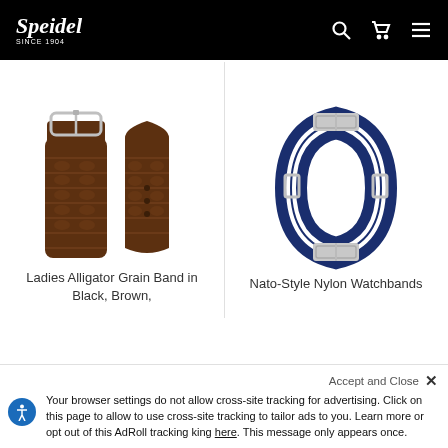Speidel Since 1904
[Figure (photo): Two pieces of a brown alligator grain leather watch band — one showing the buckle end, one showing the tapered end — displayed on a white background.]
[Figure (photo): A navy blue and white striped NATO-style nylon watchband formed into a loop with silver buckles and keepers, displayed on a white background.]
Ladies Alligator Grain Band in Black, Brown,
Nato-Style Nylon Watchbands
Accept and Close ✕
Your browser settings do not allow cross-site tracking for advertising. Click on this page to allow to use cross-site tracking to tailor ads to you. Learn more or opt out of this AdRoll tracking king here. This message only appears once.